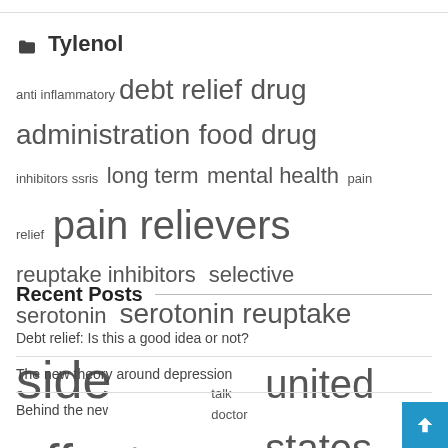Tylenol
[Figure (infographic): Tag cloud with medical/health related terms in varying sizes: anti inflammatory (small), debt relief (large), drug administration (large), food drug (large), inhibitors ssris (small), long term (medium), mental health (medium), pain relief (small), pain relievers (very large), reuptake inhibitors (medium), selective serotonin (medium), serotonin reuptake (large), side effects (very large), talk doctor (small), united states (very large)]
Recent Posts
Debt relief: Is this a good idea or not?
The new theory around depression
Behind the new study changing the way doctors think about depression